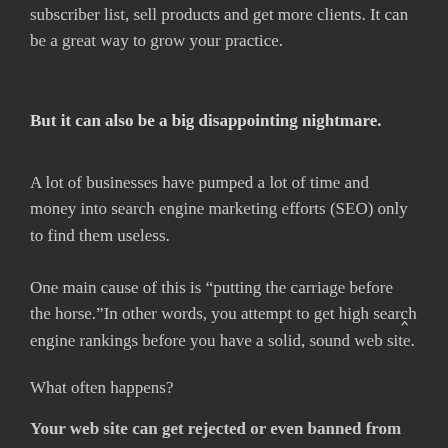subscriber list, sell products and get more clients. It can be a great way to grow your practice.
But it can also be a big disappointing nightmare.
A lot of businesses have pumped a lot of time and money into search engine marketing efforts (SEO) only to find them useless.
One main cause of this is “putting the carriage before the horse.”In other words, you attempt to get high search engine rankings before you have a solid, sound web site.
What often happens?
Your web site can get rejected or even banned from